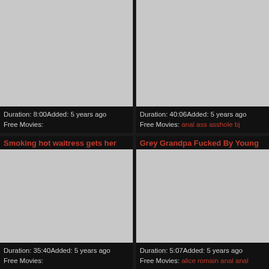[Figure (photo): Grey thumbnail placeholder, top-left video card]
Duration: 8:00Added: 5 years ago
Free Movies:
[Figure (photo): Grey thumbnail placeholder, top-right video card]
Duration: 40:06Added: 5 years ago
Free Movies: anal ass asshole bj
Smoking hot waitress gets her
[Figure (photo): Grey thumbnail placeholder, bottom-left video card]
Duration: 35:40Added: 5 years ago
Free Movies:
Grey Grandpa Fucked By Young
[Figure (photo): Grey thumbnail placeholder, bottom-right video card]
Duration: 5:07Added: 5 years ago
Free Movies: alice romain anal anal